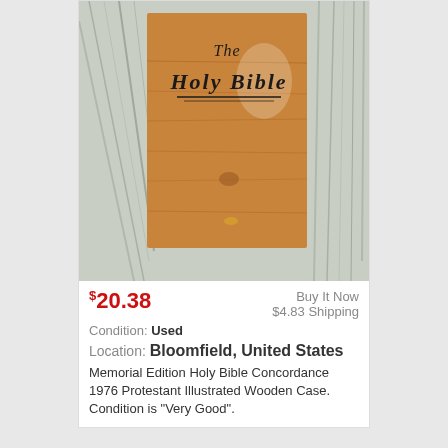[Figure (photo): Photo of a Holy Bible with engraved wooden cover sitting on a weathered white wood surface. The wooden cover reads 'The Holy Bible' in cursive script with a decorative underline.]
$20.38
Buy It Now
$4.83 Shipping
Condition: Used
Location: Bloomfield, United States
Memorial Edition Holy Bible Concordance 1976 Protestant Illustrated Wooden Case. Condition is "Very Good".